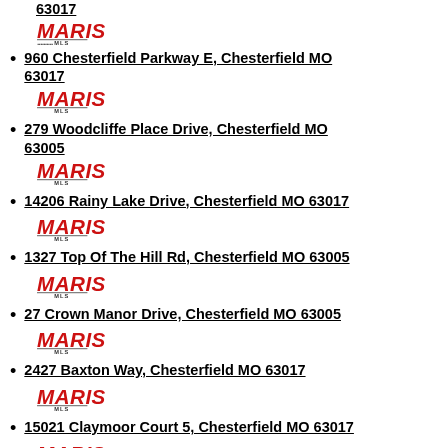63017 [MARIS MLS logo]
960 Chesterfield Parkway E, Chesterfield MO 63017 [MARIS MLS logo]
279 Woodcliffe Place Drive, Chesterfield MO 63005 [MARIS MLS logo]
14206 Rainy Lake Drive, Chesterfield MO 63017 [MARIS MLS logo]
1327 Top Of The Hill Rd, Chesterfield MO 63005 [MARIS MLS logo]
27 Crown Manor Drive, Chesterfield MO 63005 [MARIS MLS logo]
2427 Baxton Way, Chesterfield MO 63017 [MARIS MLS logo]
15021 Claymoor Court 5, Chesterfield MO 63017 [MARIS MLS logo]
29 Ridge Crest Drive, Chesterfield MO 63017 [MARIS MLS logo]